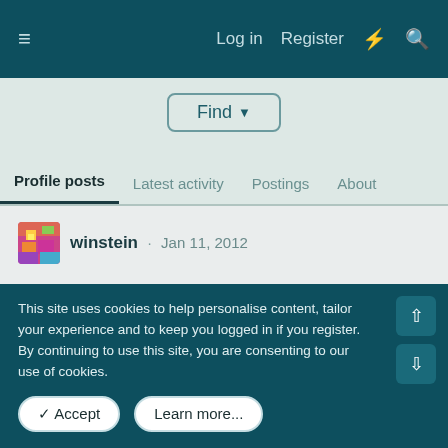≡  Log in  Register  ⚡  🔍
Find ▾
Profile posts  Latest activity  Postings  About
winstein · Jan 11, 2012

T.O.G.P. 7 is done. Check it out if you have time!

That's it for now.
winstein · Nov 8, 2011
This site uses cookies to help personalise content, tailor your experience and to keep you logged in if you register.
By continuing to use this site, you are consenting to our use of cookies.
✓ Accept  Learn more...